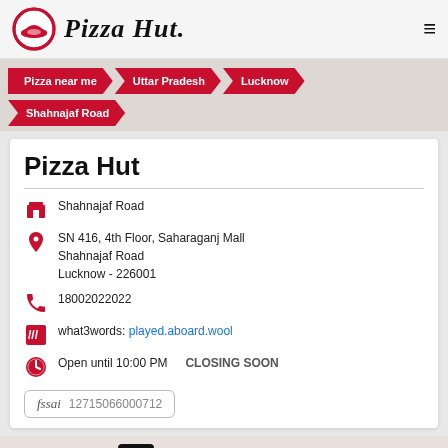[Figure (logo): Pizza Hut logo with red circle and hat icon, 'Pizza Hut' text in italic script]
Pizza near me
Uttar Pradesh
Lucknow
Shahnajaf Road
Pizza Hut
Shahnajaf Road
SN 416, 4th Floor, Saharaganj Mall
Shahnajaf Road
Lucknow - 226001
18002022022
what3words: played.aboard.wool
Open until 10:00 PM    CLOSING SOON
fssai 12715066000712
UBER IT TO PIZZA HUT